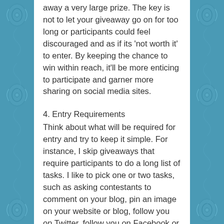away a very large prize. The key is not to let your giveaway go on for too long or participants could feel discouraged and as if its 'not worth it' to enter. By keeping the chance to win within reach, it'll be more enticing to participate and garner more sharing on social media sites.
4. Entry Requirements
Think about what will be required for entry and try to keep it simple. For instance, I skip giveaways that require participants to do a long list of tasks. I like to pick one or two tasks, such as asking contestants to comment on your blog, pin an image on your website or blog, follow you on Twitter, follow you on Facebook or tweet about the giveaway.
Be sure to add contest rules. I usually limit my giveaways to the US for shipping purposes and I keep it to participants that are 18 and older. You can manage a giveaway with an awesome tool called Rafflecopter that keeps track of who